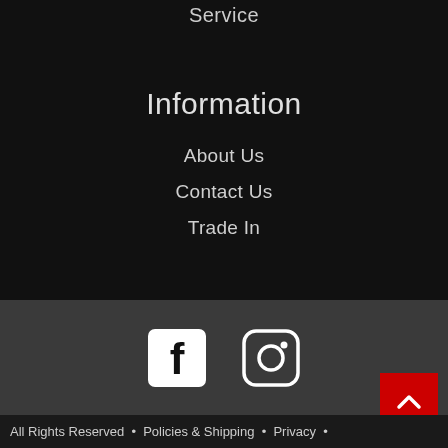Service
Information
About Us
Contact Us
Trade In
[Figure (logo): Facebook and Instagram social media icons]
[Figure (illustration): Back to top button (red square with white chevron/caret up arrow)]
All Rights Reserved • Policies & Shipping • Privacy •